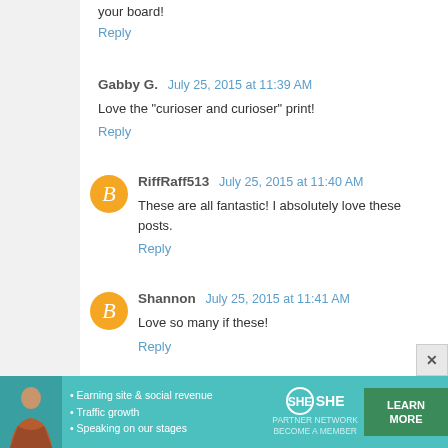your board!
Reply
Gabby G.  July 25, 2015 at 11:39 AM
Love the "curioser and curioser" print!
Reply
RiffRaff513  July 25, 2015 at 11:40 AM
These are all fantastic! I absolutely love these posts.
Reply
Shannon  July 25, 2015 at 11:41 AM
Love so many if these!
Reply
Randella  July 25, 2015 at 11:41 AM
Toothless! My heart! Link and Wonder Woman are als
[Figure (infographic): SHE Partner Network advertisement banner in teal with woman photo, bullet points about earning site & social revenue, traffic growth, speaking on our stages, SHE logo, and LEARN MORE button]